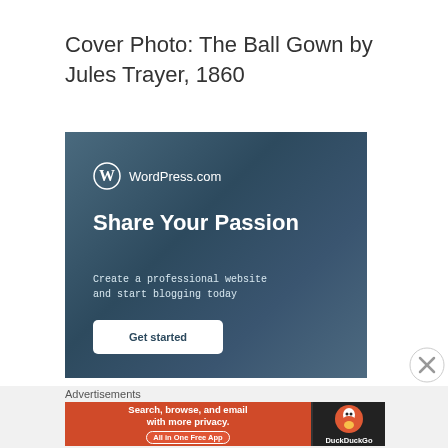Cover Photo: The Ball Gown by Jules Trayer, 1860
[Figure (screenshot): WordPress.com advertisement banner showing 'Share Your Passion' with 'Create a professional website and start blogging today' text and a 'Get started' button on a dark blue-grey background]
Advertisements
[Figure (screenshot): DuckDuckGo advertisement: 'Search, browse, and email with more privacy. All in One Free App' with DuckDuckGo logo on dark background]